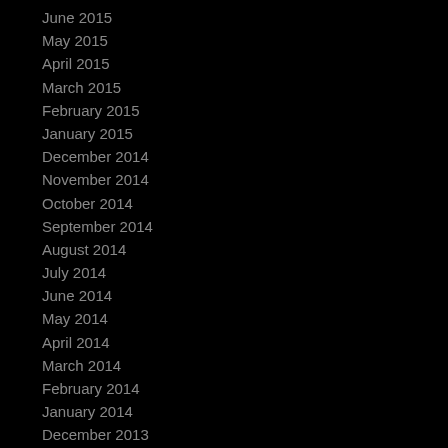June 2015
May 2015
April 2015
March 2015
February 2015
January 2015
December 2014
November 2014
October 2014
September 2014
August 2014
July 2014
June 2014
May 2014
April 2014
March 2014
February 2014
January 2014
December 2013
November 2013
October 2013
September 2013
August 2013
July 2013